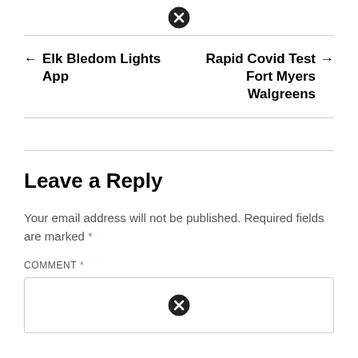[Figure (other): Close/cancel icon (circled X) at top center]
← Elk Bledom Lights App    Rapid Covid Test → Fort Myers Walgreens
Leave a Reply
Your email address will not be published. Required fields are marked *
COMMENT *
[Figure (other): Close/cancel icon (circled X) inside comment box]